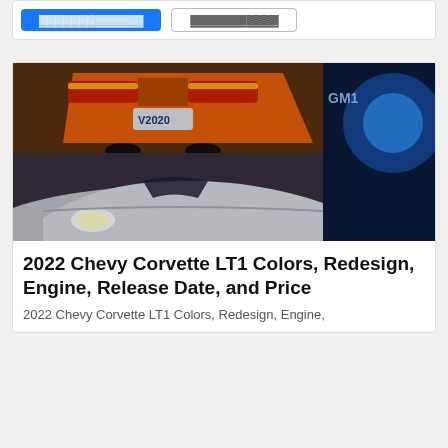[Figure (photo): Corvette reveal event photo showing orange Corvette rear with '2020' plate on projection screen and white Corvette convertible in foreground]
2022 Chevy Corvette LT1 Colors, Redesign, Engine, Release Date, and Price
2022 Chevy Corvette LT1 Colors, Redesign, Engine,